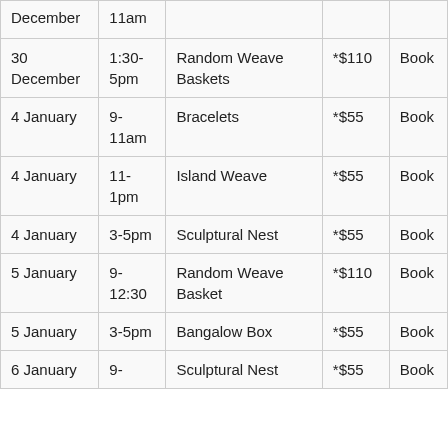| Date | Time | Workshop | Price |  |
| --- | --- | --- | --- | --- |
| December | 11am |  |  |  |
| 30 December | 1:30-5pm | Random Weave Baskets | *$110 | Book |
| 4 January | 9-11am | Bracelets | *$55 | Book |
| 4 January | 11-1pm | Island Weave | *$55 | Book |
| 4 January | 3-5pm | Sculptural Nest | *$55 | Book |
| 5 January | 9-12:30 | Random Weave Basket | *$110 | Book |
| 5 January | 3-5pm | Bangalow Box | *$55 | Book |
| 6 January | 9- | Sculptural Nest | *$55 | Book |